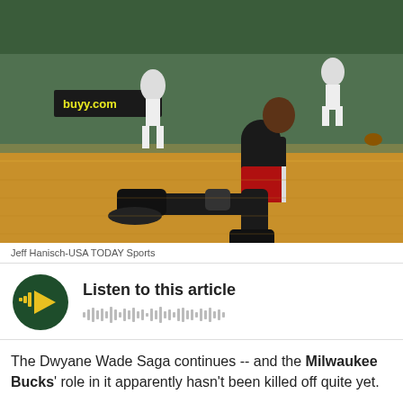[Figure (photo): A basketball player in a black and red Miami Heat uniform sits on the hardwood court floor. Other players and a crowd are visible in the background inside a green-themed arena.]
Jeff Hanisch-USA TODAY Sports
[Figure (other): Audio player widget: dark green circle with yellow play triangle and audio waveform bars, with text 'Listen to this article' and a waveform graphic.]
The Dwyane Wade Saga continues -- and the Milwaukee Bucks' role in it apparently hasn't been killed off quite yet.